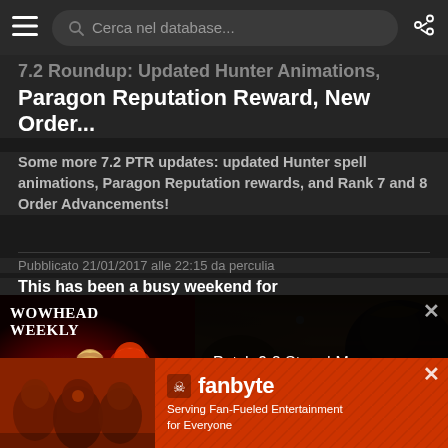Cerca nel database...
7.2 Roundup: Updated Hunter Animations, Paragon Reputation Reward, New Order...
Some more 7.2 PTR updates: updated Hunter spell animations, Paragon Reputation rewards, and Rank 7 and 8 Order Advancements!
Pubblicato 21/01/2017 alle 22:15 da perculia
This has been a busy weekend for
[Figure (screenshot): Game screenshot showing fantasy characters/creatures in a dark scene]
[Figure (screenshot): Wowhead Weekly #288 podcast thumbnail with animated characters and text: Patch 9.2 Story | Mage Tower | Wowhead #288]
[Figure (other): Fanbyte advertisement banner: Serving Fan-Fueled Entertainment for Everyone]